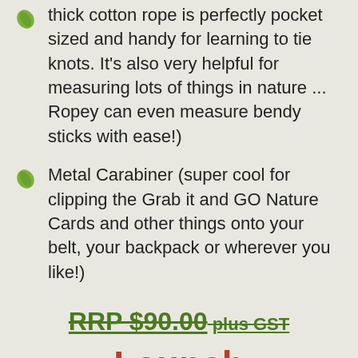thick cotton rope is perfectly pocket sized and handy for learning to tie knots. It's also very helpful for measuring lots of things in nature ... Ropey can even measure bendy sticks with ease!)
Metal Carabiner (super cool for clipping the Grab it and GO Nature Cards and other things onto your belt, your backpack or wherever you like!)
RRP $90.00 plus GST
Launch
Special $80.00 plus GST